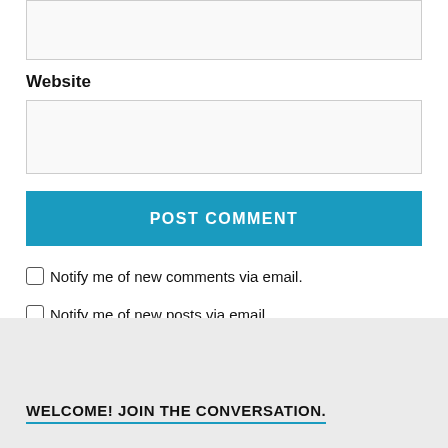Website
POST COMMENT
Notify me of new comments via email.
Notify me of new posts via email.
WELCOME! JOIN THE CONVERSATION.